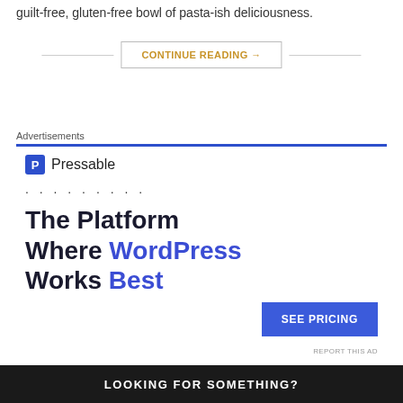guilt-free, gluten-free bowl of pasta-ish deliciousness.
CONTINUE READING →
Advertisements
[Figure (logo): Pressable logo with blue P icon and text 'Pressable']
. . . . . . . . .
The Platform Where WordPress Works Best
SEE PRICING
REPORT THIS AD
LOOKING FOR SOMETHING?